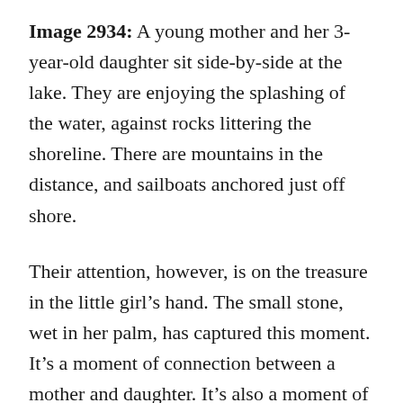Image 2934: A young mother and her 3-year-old daughter sit side-by-side at the lake. They are enjoying the splashing of the water, against rocks littering the shoreline. There are mountains in the distance, and sailboats anchored just off shore.
Their attention, however, is on the treasure in the little girl’s hand. The small stone, wet in her palm, has captured this moment. It’s a moment of connection between a mother and daughter. It’s also a moment of adventure and exploration: that stone, little more than a